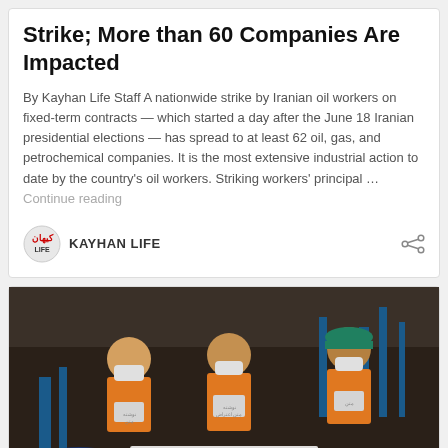Strike; More than 60 Companies Are Impacted
By Kayhan Life Staff A nationwide strike by Iranian oil workers on fixed-term contracts — which started a day after the June 18 Iranian presidential elections — has spread to at least 62 oil, gas, and petrochemical companies. It is the most extensive industrial action to date by the country's oil workers. Striking workers' principal … Continue reading
KAYHAN LIFE
[Figure (photo): Photo of Iranian oil workers wearing masks and orange uniforms holding signs, with industrial/petrochemical facility imagery in the background.]
Privacy & Cookies Policy